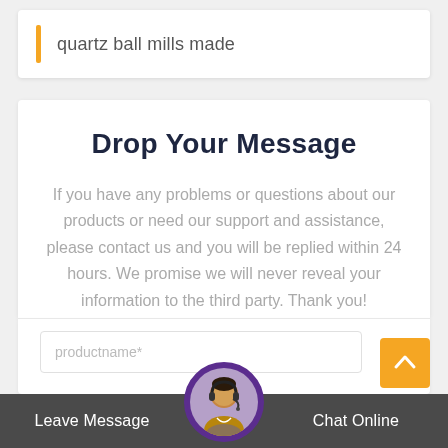quartz ball mills made
Drop Your Message
If you have any problems or questions about our products or need our support and assistance, please contact us and you will be replied within 24 hours. We promise we will never reveal your information to the third party. Thank you!
productname*
Leave Message
Chat Online